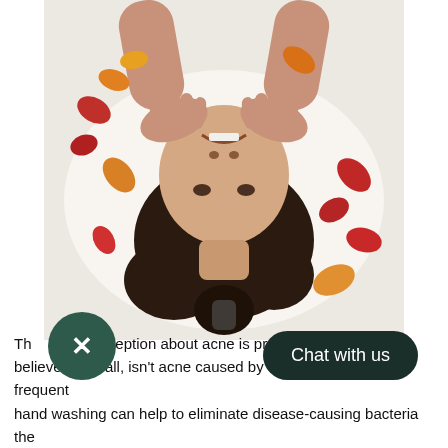[Figure (photo): Overhead view of a person lying in a white milk bath with colorful flower petals, their face being held/massaged by hands from above, photograph is inverted (upside down)]
The misconception about acne is probably one of the most common to believe. After all, isn't acne caused by dirt and bacteria? If frequent hand washing can help to eliminate disease-causing bacteria the
×
Chat with us